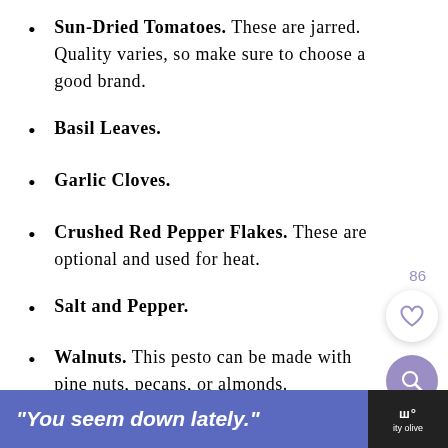Sun-Dried Tomatoes. These are jarred. Quality varies, so make sure to choose a good brand.
Basil Leaves.
Garlic Cloves.
Crushed Red Pepper Flakes. These are optional and used for heat.
Salt and Pepper.
Walnuts. This pesto can be made with pine nuts, pecans, or almonds.
Freshly Grated Parmesan Cheese.
"You seem down lately."